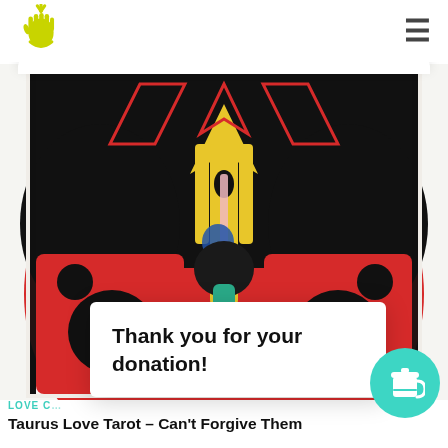[Logo: hand/sun icon] [Hamburger menu]
[Figure (illustration): Abstract colorful artwork featuring geometric shapes in red, black, yellow, green, blue and pink, resembling a stylized figure or totem against a red background]
Thank you for your donation!
[Figure (logo): Round teal/green button with a coffee cup icon]
LOVE C…
Taurus Love Tarot – Can't Forgive Them